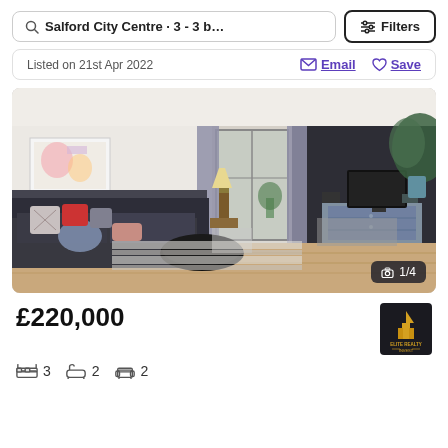Salford City Centre · 3 - 3 b… Filters
Listed on 21st Apr 2022  Email  Save
[Figure (photo): Interior photo of a modern living room with a dark sofa with patterned and red cushions, a lamp, coffee table, striped rug, patio doors with grey curtains, TV on a grey dresser, and artwork on the wall. Photo counter shows 1/4.]
£220,000
3 bedrooms  2 bathrooms  2 reception rooms